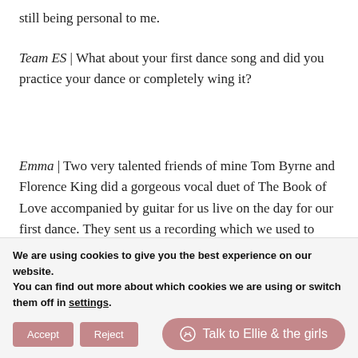still being personal to me.
Team ES | What about your first dance song and did you practice your dance or completely wing it?
Emma | Two very talented friends of mine Tom Byrne and Florence King did a gorgeous vocal duet of The Book of Love accompanied by guitar for us live on the day for our first dance. They sent us a recording which we used to practice a few moves and did have two private
We are using cookies to give you the best experience on our website.
You can find out more about which cookies we are using or switch them off in settings.